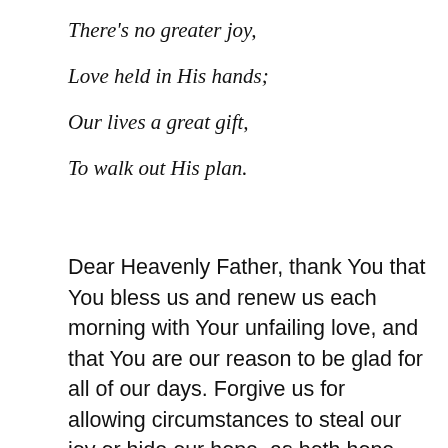There's no greater joy,
Love held in His hands;
Our lives a great gift,
To walk out His plan.
Dear Heavenly Father, thank You that You bless us and renew us each morning with Your unfailing love, and that You are our reason to be glad for all of our days. Forgive us for allowing circumstances to steal our joy or hide our hope, as both hope and joy are found in You alone. Teach us to turn to You in all things